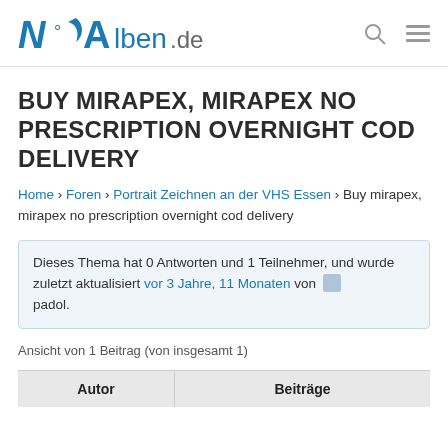N°Alben.de
BUY MIRAPEX, MIRAPEX NO PRESCRIPTION OVERNIGHT COD DELIVERY
Home › Foren › Portrait Zeichnen an der VHS Essen › Buy mirapex, mirapex no prescription overnight cod delivery
Dieses Thema hat 0 Antworten und 1 Teilnehmer, und wurde zuletzt aktualisiert vor 3 Jahre, 11 Monaten von padol.
Ansicht von 1 Beitrag (von insgesamt 1)
| Autor | Beiträge |
| --- | --- |